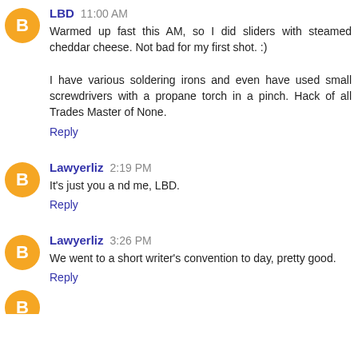LBD 11:00 AM
Warmed up fast this AM, so I did sliders with steamed cheddar cheese. Not bad for my first shot. :)

I have various soldering irons and even have used small screwdrivers with a propane torch in a pinch. Hack of all Trades Master of None.
Reply
Lawyerliz 2:19 PM
It's just you a nd me, LBD.
Reply
Lawyerliz 3:26 PM
We went to a short writer's convention to day, pretty good.
Reply